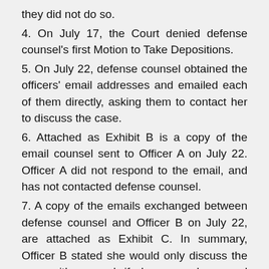they did not do so.
4. On July 17, the Court denied defense counsel's first Motion to Take Depositions.
5. On July 22, defense counsel obtained the officers' email addresses and emailed each of them directly, asking them to contact her to discuss the case.
6. Attached as Exhibit B is a copy of the email counsel sent to Officer A on July 22. Officer A did not respond to the email, and has not contacted defense counsel.
7. A copy of the emails exchanged between defense counsel and Officer B on July 22, are attached as Exhibit C. In summary, Officer B stated she would only discuss the case with counsel, if she was subpoenaed for deposition. When defense